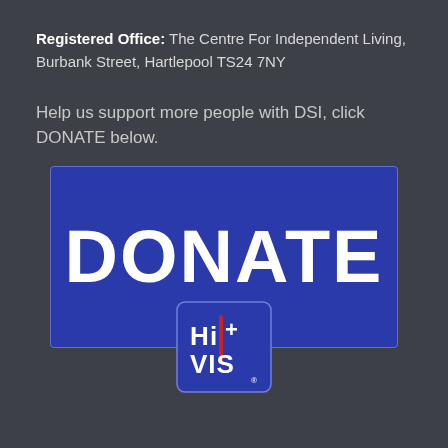Registered Office: The Centre For Independent Living, Burbank Street, Hartlepool TS24 7NY
Help us support more people with DSI, click DONATE below.
[Figure (illustration): A large blue rectangle button with the word DONATE in large white bold text, and below it a square logo for HI+VIS with white text on a blue background.]